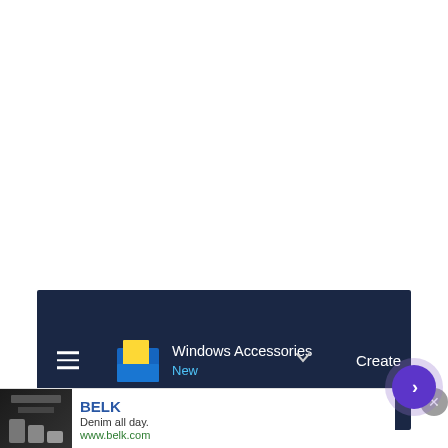[Figure (screenshot): Windows 10 Start Menu showing 'Windows Accessories' folder with 'New' label and a 'Create' button. Dark navy background with hamburger menu icon, yellow/blue folder icon, chevron dropdown and a red circle element at the bottom.]
[Figure (screenshot): Advertisement banner for BELK showing 'Denim all day.' tagline and www.belk.com URL, with a close button (X) and a purple circular navigation button on the right.]